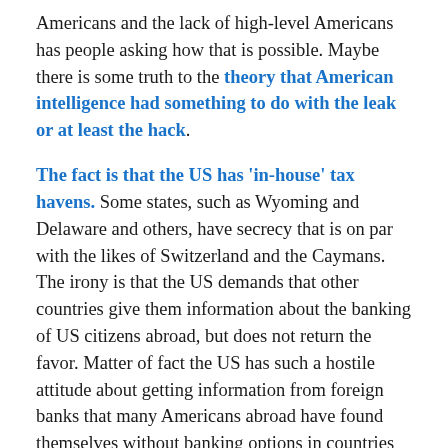Americans and the lack of high-level Americans has people asking how that is possible. Maybe there is some truth to the theory that American intelligence had something to do with the leak or at least the hack.
The fact is that the US has 'in-house' tax havens. Some states, such as Wyoming and Delaware and others, have secrecy that is on par with the likes of Switzerland and the Caymans. The irony is that the US demands that other countries give them information about the banking of US citizens abroad, but does not return the favor. Matter of fact the US has such a hostile attitude about getting information from foreign banks that many Americans abroad have found themselves without banking options in countries they reside in.
The fall out will continue no doubt for weeks, and we will see more mention of Putin's connections to listed clients, however, we will see very little about the other leaders